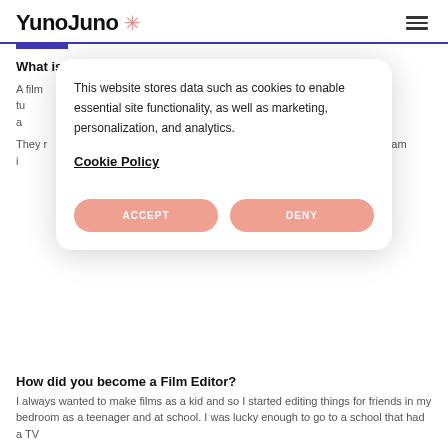YunoJuno
What is a Film Editor, and what do you do?
A film ... ll the footage ... le and tu ... nds are so ... d they have a ... e.
They r ... t or directo ... ative team i ... hic artists ...
[Figure (screenshot): Cookie consent modal dialog with text: 'This website stores data such as cookies to enable essential site functionality, as well as marketing, personalization, and analytics.' with Cookie Policy link and ACCEPT/DENY buttons]
How did you become a Film Editor?
I always wanted to make films as a kid and so I started editing things for friends in my bedroom as a teenager and at school. I was lucky enough to go to a school that had a TV ...